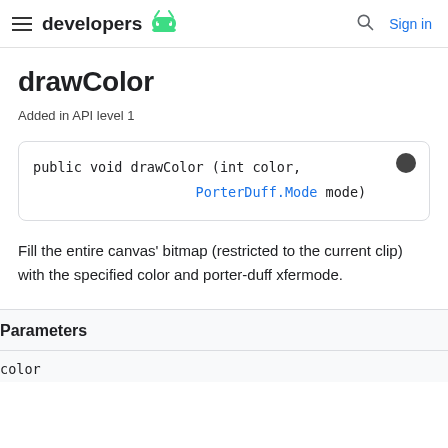developers [android logo] | Sign in
drawColor
Added in API level 1
Fill the entire canvas' bitmap (restricted to the current clip) with the specified color and porter-duff xfermode.
Parameters
color